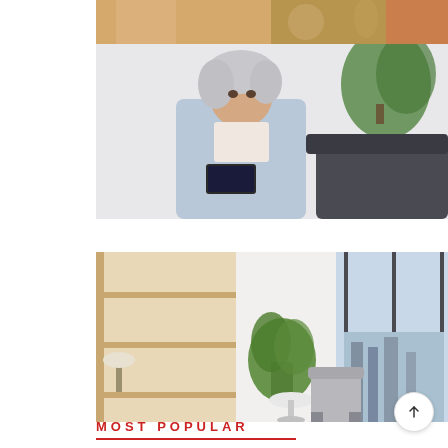[Figure (photo): Top portion of a scene showing hands and objects on a table, partial view]
[Figure (photo): Elderly woman with white hair looking down at a phone/tablet, wearing a light blue cardigan, sitting in front of a green plant]
[Figure (photo): Modern interior room with wooden shelving, a potted plant, a small round table, grey chair, and large floor-to-ceiling windows with city view]
MOST POPULAR